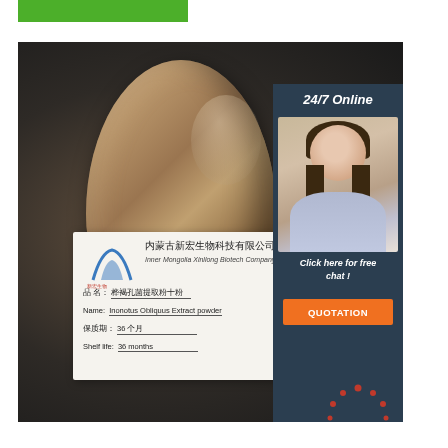[Figure (photo): Green bar at top of page, partial banner element]
[Figure (photo): Product photo of a chaga mushroom extract shaped like a dark egg on dark background, with a product label card showing company name Inner Mongolia Xinhong Biotech Company Limited, product name Inonotus Obliquus Extract powder, shelf life 36 months. An overlaid sidebar shows 24/7 Online customer service agent and QUOTATION button. A TOP badge is in the bottom right corner.]